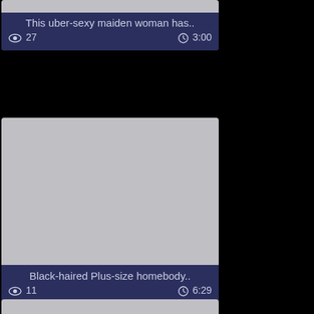[Figure (screenshot): Video thumbnail placeholder (gray) partially visible at top]
This uber-sexy maiden woman has..
👁 27   🕐 3:00
[Figure (screenshot): Video thumbnail placeholder (gray) for second card]
Black-haired Plus-size homebody..
👁 11   🕐 6:29
[Figure (screenshot): Video thumbnail placeholder (gray) partially visible at bottom]